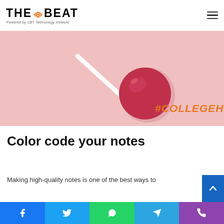THE BEAT — Powered by CBT Technology Institute
[Figure (photo): Pink background with a red lollipop candy on a stick, with orange bold hashtag text #COLLEGEHACKS in the lower right]
Color code your notes
Making high-quality notes is one of the best ways to